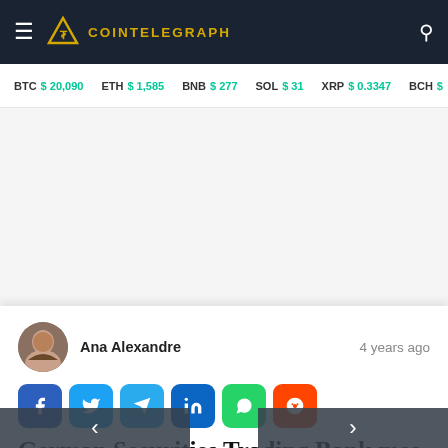COINTELEGRAPH
BTC $ 20,090  ETH $ 1,585  BNB $ 277  SOL $ 31  XRP $ 0.3347  BCH $
[Figure (other): Advertisement placeholder area (white/light gray blank space)]
Ana Alexandre  4 years ago
German Securities Trading Bank Becomes To Trade Crypto